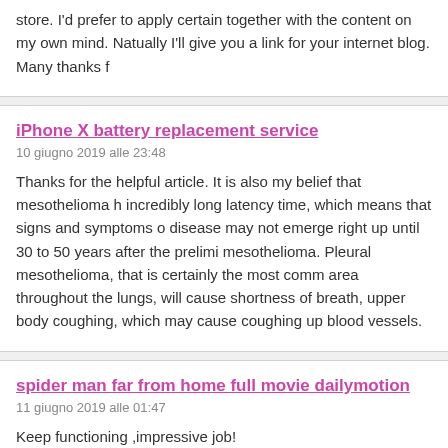store. I'd prefer to apply certain together with the content on my own mind. Natually I'll give you a link for your internet blog. Many thanks f
iPhone X battery replacement service
10 giugno 2019 alle 23:48
Thanks for the helpful article. It is also my belief that mesothelioma h incredibly long latency time, which means that signs and symptoms o disease may not emerge right up until 30 to 50 years after the prelimi mesothelioma. Pleural mesothelioma, that is certainly the most comm area throughout the lungs, will cause shortness of breath, upper body coughing, which may cause coughing up blood vessels.
spider man far from home full movie dailymotion
11 giugno 2019 alle 01:47
Keep functioning ,impressive job!
filter air
11 giugno 2019 alle 06:25